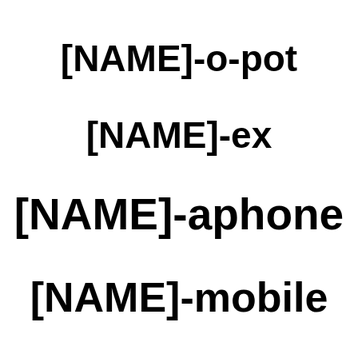[NAME]-o-pot
[NAME]-ex
[NAME]-aphone
[NAME]-mobile